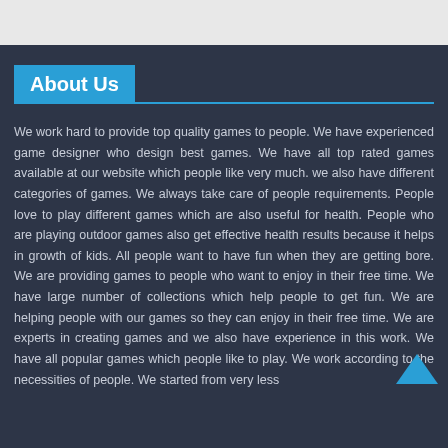About Us
We work hard to provide top quality games to people. We have experienced game designer who design best games. We have all top rated games available at our website which people like very much. we also have different categories of games. We always take care of people requirements. People love to play different games which are also useful for health. People who are playing outdoor games also get effective health results because it helps in growth of kids. All people want to have fun when they are getting bore. We are providing games to people who want to enjoy in their free time. We have large number of collections which help people to get fun. We are helping people with our games so they can enjoy in their free time. We are experts in creating games and we also have experience in this work. We have all popular games which people like to play. We work according to the necessities of people. We started from very less